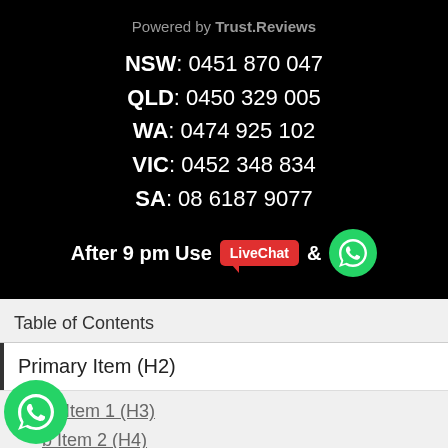Powered by Trust.Reviews
NSW: 0451 870 047
QLD: 0450 329 005
WA: 0474 925 102
VIC: 0452 348 834
SA: 08 6187 9077
After 9 pm Use LiveChat &
Table of Contents
Primary Item (H2)
Sub Item 1 (H3)
Sub Item 2 (H4)